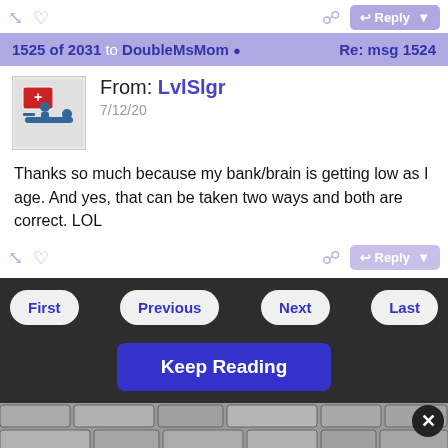1525 of 2031 to DoubleMsMom  Re: msg 1524
From: LvlSlgr
7/12/20
Thanks so much because my bank/brain is getting low as I age. And yes, that can be taken two ways and both are correct. LOL
Copyright © 2022 Delphi Forums LLC